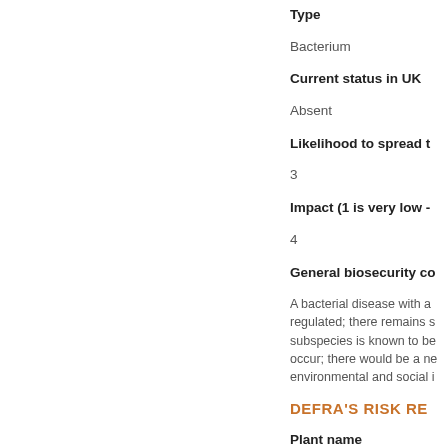Type
Bacterium
Current status in UK
Absent
Likelihood to spread t
3
Impact (1 is very low -
4
General biosecurity co
A bacterial disease with a regulated; there remains s subspecies is known to be occur; there would be a ne environmental and social i
DEFRA'S RISK RE
Plant name
Lavandula x intermedia 'E
Common pest name
Scientific pest name
Hyalesthes obsoletus